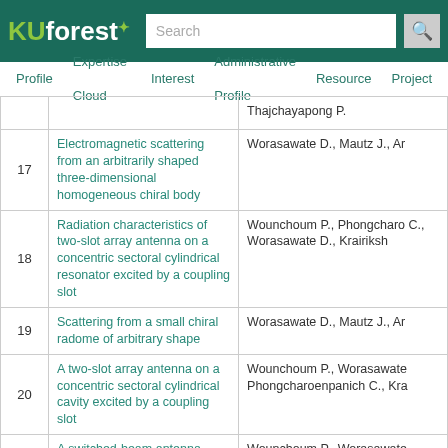KUforest | Search | Profile | Expertise Cloud | Interest | Administrative Profile | Resource | Project
| # | Title | Authors |
| --- | --- | --- |
|  | Thajchayapong P. |  |
| 17 | Electromagnetic scattering from an arbitrarily shaped three-dimensional homogeneous chiral body | Worasawate D., Mautz J., Ar… |
| 18 | Radiation characteristics of two-slot array antenna on a concentric sectoral cylindrical resonator excited by a coupling slot | Wounchoum P., Phongcharo C., Worasawate D., Krairiksh… |
| 19 | Scattering from a small chiral radome of arbitrary shape | Worasawate D., Mautz J., Ar… |
| 20 | A two-slot array antenna on a concentric sectoral cylindrical cavity excited by a coupling slot | Wounchoum P., Worasawate Phongcharoenpanich C., Kra… |
| 21 | A switched-beam antenna using circumferential-slots on a concentric sectoral cylindrical cavity excited by coupling slots | Wounchoum P., Worasawate Phongcharoenpanich C., Kra… |
| 22 | Welcome Message from the iSAI-NLP-AioT 2020 General Committee | Threeramunkong T., Wutiwi Worasawate D., Isshiki T. |